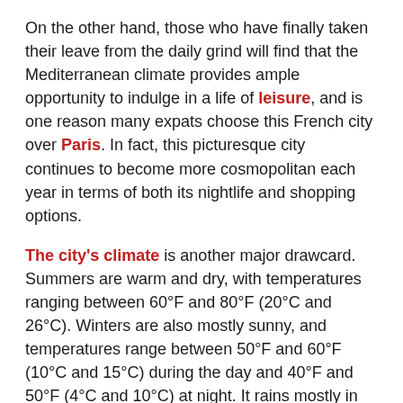On the other hand, those who have finally taken their leave from the daily grind will find that the Mediterranean climate provides ample opportunity to indulge in a life of leisure, and is one reason many expats choose this French city over Paris. In fact, this picturesque city continues to become more cosmopolitan each year in terms of both its nightlife and shopping options.
The city's climate is another major drawcard. Summers are warm and dry, with temperatures ranging between 60°F and 80°F (20°C and 26°C). Winters are also mostly sunny, and temperatures range between 50°F and 60°F (10°C and 15°C) during the day and 40°F and 50°F (4°C and 10°C) at night. It rains mostly in the winter but generally clears up just as suddenly as it starts.
The region's diverse natural beauty draws wealthy expats from across the globe. The ocean is 10 minutes from the city centre and the mountains are just a short bus ride away. You can also hike, water ski, mountain board a range of